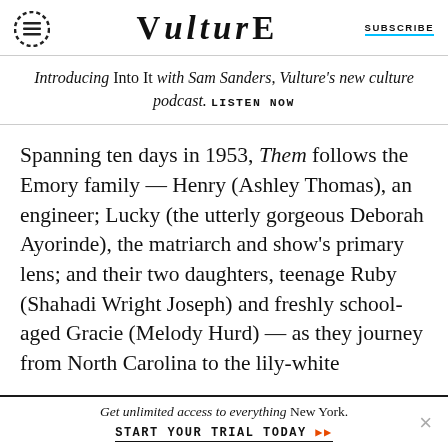VULTURE | SUBSCRIBE
Introducing Into It with Sam Sanders, Vulture's new culture podcast. LISTEN NOW
Spanning ten days in 1953, Them follows the Emory family — Henry (Ashley Thomas), an engineer; Lucky (the utterly gorgeous Deborah Ayorinde), the matriarch and show's primary lens; and their two daughters, teenage Ruby (Shahadi Wright Joseph) and freshly school-aged Gracie (Melody Hurd) — as they journey from North Carolina to the lily-white
Get unlimited access to everything New York. START YOUR TRIAL TODAY